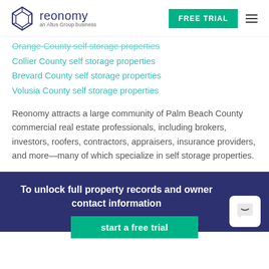reonomy — an Altus Group business | FREE TRIAL
Orange County self storage properties
Collier County self storage properties
Brevard County self storage properties
Volusia County self storage properties
Reonomy attracts a large community of Palm Beach County commercial real estate professionals, including brokers, investors, roofers, contractors, appraisers, insurance providers, and more—many of which specialize in self storage properties.
To unlock full property records and owner contact information
start a free trial